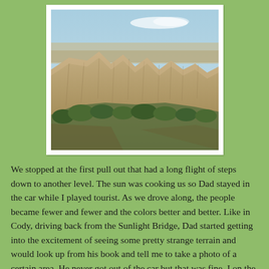[Figure (photo): Aerial or elevated view of a canyon landscape with eroded sandy/rocky cliff formations in the foreground and middle ground, green trees at the base, flat arid terrain and horizon in the background under a blue sky with light clouds.]
We stopped at the first pull out that had a long flight of steps down to another level. The sun was cooking us so Dad stayed in the car while I played tourist. As we drove along, the people became fewer and fewer and the colors better and better. Like in Cody, driving back from the Sunlight Bridge, Dad started getting into the excitement of seeing some pretty strange terrain and would look up from his book and tell me to take a photo of a certain area. He never got out of the car but that was fine. I on the other hand was like a kid in a candy store, pointing my phone in all directions. On our way back towards the entrance, the storms in the